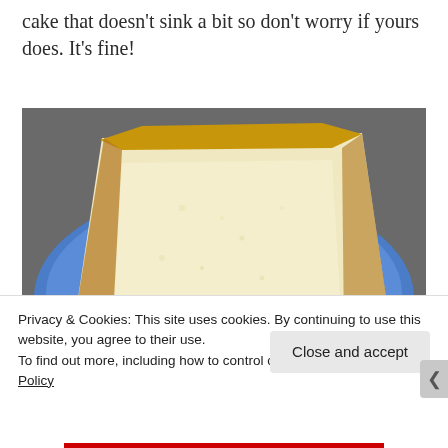cake that doesn't sink a bit so don't worry if yours does. It's fine!
[Figure (photo): A large slice of pale yellow pound cake or sponge cake resting on a blue decorative plate with floral and fruit patterns, viewed from above at an angle.]
Privacy & Cookies: This site uses cookies. By continuing to use this website, you agree to their use.
To find out more, including how to control cookies, see here: Cookie Policy